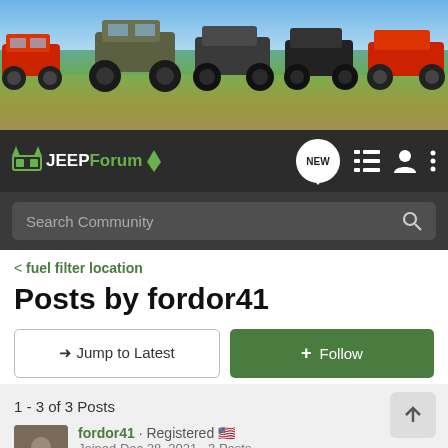[Figure (photo): Banner photo showing five off-road Jeep vehicles parked in a field with blue sky and grassy terrain.]
JEEPForum — NEW — navigation icons — Search Community
< fuel filter location
Posts by fordor41
→ Jump to Latest
+ Follow
1 - 3 of 3 Posts
fordor41 · Registered 🇺🇸
Joined Dec 28, 2021 · 3 Posts